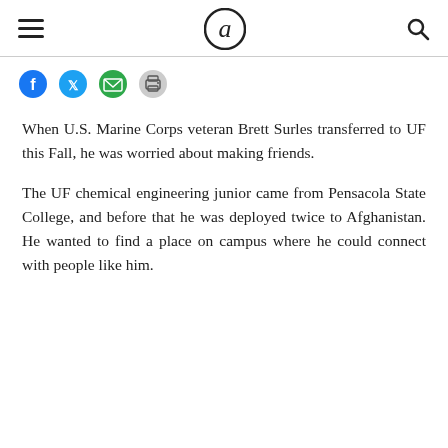Alligator logo with hamburger menu and search icon
[Figure (logo): Social sharing icons: Facebook, Twitter, Email, Print]
When U.S. Marine Corps veteran Brett Surles transferred to UF this Fall, he was worried about making friends.
The UF chemical engineering junior came from Pensacola State College, and before that he was deployed twice to Afghanistan. He wanted to find a place on campus where he could connect with people like him.